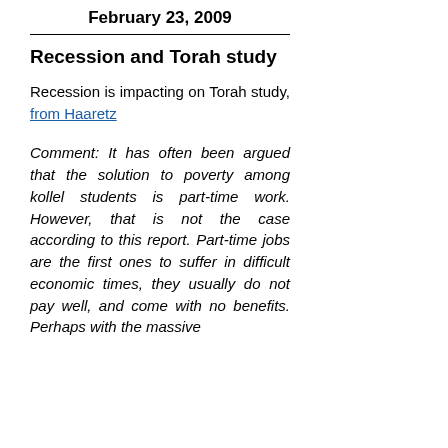February 23, 2009
Recession and Torah study
Recession is impacting on Torah study, from Haaretz
Comment: It has often been argued that the solution to poverty among kollel students is part-time work. However, that is not the case according to this report. Part-time jobs are the first ones to suffer in difficult economic times, they usually do not pay well, and come with no benefits. Perhaps with the massive